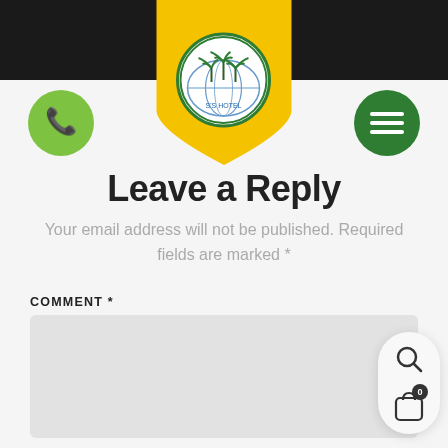[Figure (logo): Yellow shield/banner shape with hotel logo featuring palm trees and a globe, with circular white inset]
[Figure (illustration): Light green circular phone call button on the left side of the header]
[Figure (illustration): Dark green circular hamburger menu button on the right side of the header]
Leave a Reply
Your email address will not be published. Required fields are marked *
COMMENT *
[Figure (screenshot): Empty grey comment textarea input box]
[Figure (illustration): Floating action panel with search icon and shopping cart icon with badge showing 0]